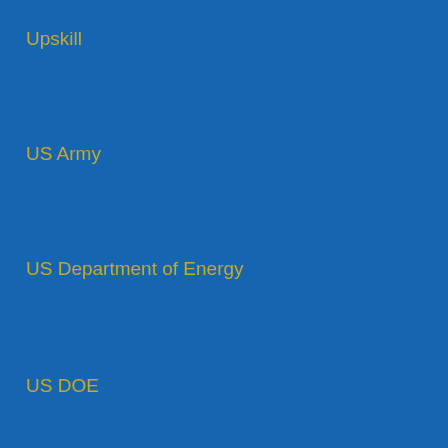Upskill
US Army
US Department of Energy
US DOE
US Review of Books
USDOE
User Stories
User Stories - Interviews
User Stories - Observation